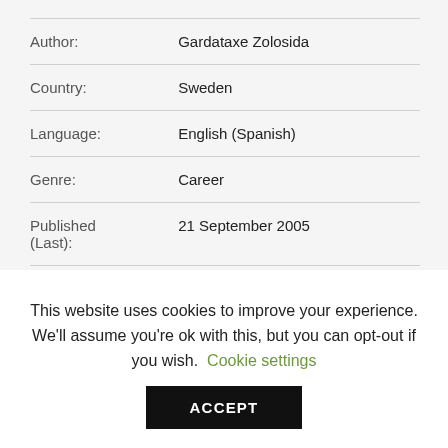| Field | Value |
| --- | --- |
| Author: | Gardataxe Zolosida |
| Country: | Sweden |
| Language: | English (Spanish) |
| Genre: | Career |
| Published (Last): | 21 September 2005 |
This website uses cookies to improve your experience. We'll assume you're ok with this, but you can opt-out if you wish. Cookie settings ACCEPT